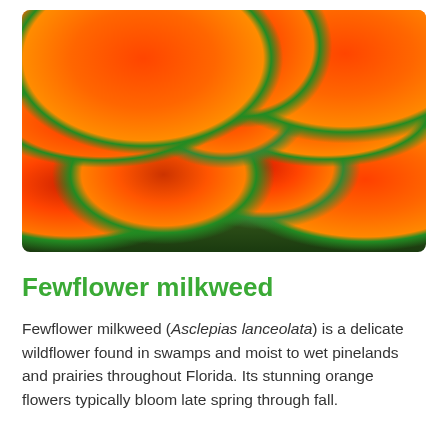[Figure (photo): Close-up photograph of Fewflower milkweed (Asclepias lanceolata) showing clusters of vivid orange and red star-shaped flowers with small pink centers against green foliage background.]
Fewflower milkweed
Fewflower milkweed (Asclepias lanceolata) is a delicate wildflower found in swamps and moist to wet pinelands and prairies throughout Florida. Its stunning orange flowers typically bloom late spring through fall.